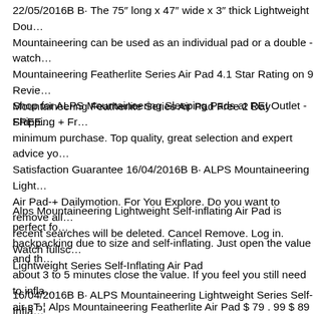22/05/2016В В· The 75″ long x 47″ wide x 3″ thick Lightweight Dou… Mountaineering can be used as an individual pad or a double - watch… Mountaineering Featherlite Series Air Pad 4.1 Star Rating on 9 Revie… Mountaineering Featherlite Series Air Pad Free 2 Day Shipping + Fr…
Shop for ALPS Mountaineering Sleeping Pads at REI Outlet - FREE… minimum purchase. Top quality, great selection and expert advice yo… Satisfaction Guarantee 16/04/2016В В· ALPS Mountaineering Light… Air Pad-+ Dailymotion. For You Explore. Do you want to remove all… recent searches will be deleted. Cancel Remove. Log in. Watch fullsc… Lightweight Series Self-Inflating Air Pad
Alps Mountaineering Lightweight Self-inflating Air Pad is perfect fo… backpacking due to size and self-inflating. Just open the value and th… about 3 to 5 minutes close the value. If you feel you still need to infla… air вЂ¦ Alps Mountaineering Featherlite Air Pad $ 79 . 99 $ 89 . 99 U… parts can be installed on various motorcycles and may require modifi…
16/04/2016В В· ALPS Mountaineering Lightweight Series Self-Infla… For You Explore. Do you want to remove all your recent searches? A…